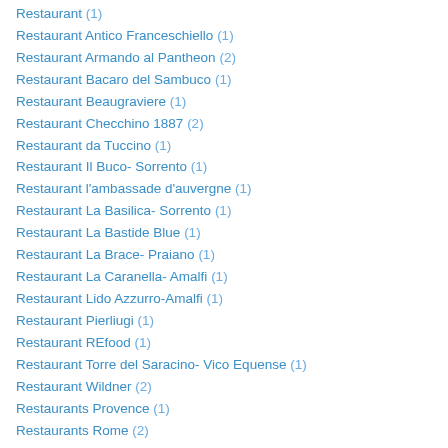Restaurant (1)
Restaurant Antico Franceschiello (1)
Restaurant Armando al Pantheon (2)
Restaurant Bacaro del Sambuco (1)
Restaurant Beaugraviere (1)
Restaurant Checchino 1887 (2)
Restaurant da Tuccino (1)
Restaurant Il Buco- Sorrento (1)
Restaurant l'ambassade d'auvergne (1)
Restaurant La Basilica- Sorrento (1)
Restaurant La Bastide Blue (1)
Restaurant La Brace- Praiano (1)
Restaurant La Caranella- Amalfi (1)
Restaurant Lido Azzurro-Amalfi (1)
Restaurant Pierliugi (1)
Restaurant REfood (1)
Restaurant Torre del Saracino- Vico Equense (1)
Restaurant Wildner (2)
Restaurants Provence (1)
Restaurants Rome (2)